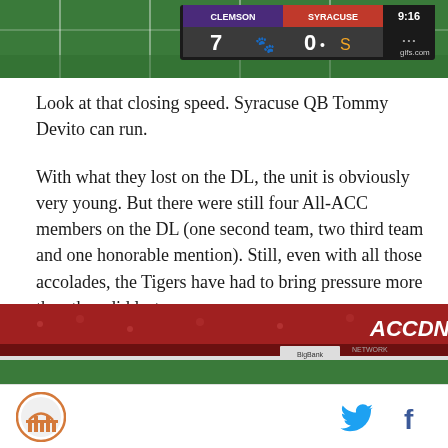[Figure (screenshot): Football game screenshot showing scoreboard: CLEMSON 7, SYRACUSE 0, 9:16, gifs.com watermark]
Look at that closing speed. Syracuse QB Tommy Devito can run.
With what they lost on the DL, the unit is obviously very young. But there were still four All-ACC members on the DL (one second team, two third team and one honorable mention). Still, even with all those accolades, the Tigers have had to bring pressure more than they did last year.
[Figure (screenshot): Football stadium photograph with ACC Digital Network (ACCDN) logo overlay, red crowd visible]
Site logo icon | Twitter bird icon | Facebook f icon